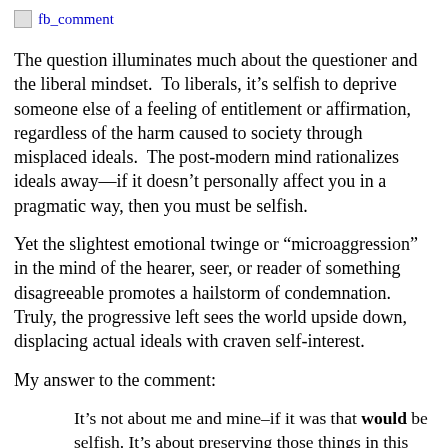[Figure (screenshot): Small image icon followed by blue hyperlink text 'fb_comment']
The question illuminates much about the questioner and the liberal mindset.  To liberals, it's selfish to deprive someone else of a feeling of entitlement or affirmation, regardless of the harm caused to society through misplaced ideals.  The post-modern mind rationalizes ideals away—if it doesn't personally affect you in a pragmatic way, then you must be selfish.
Yet the slightest emotional twinge or “microaggression” in the mind of the hearer, seer, or reader of something disagreeable promotes a hailstorm of condemnation.  Truly, the progressive left sees the world upside down, displacing actual ideals with craven self-interest.
My answer to the comment:
It’s not about me and mine–if it was that would be selfish. It’s about preserving those things in this country I and millions of others hold dear: our God, our Bible, and the freedom to follow both. When verses in the Bible are held as “hate speech” simply because somebody disagrees with them, or my church loses a tax status that other charities which agree with the “official” position retain, that harms not only me,